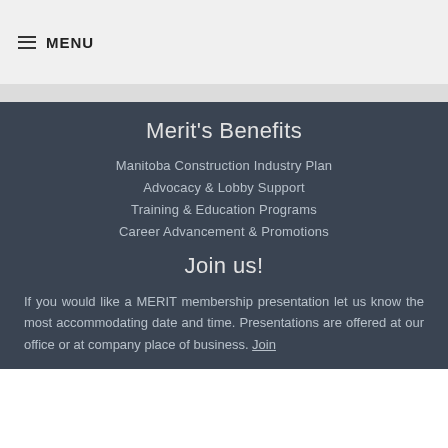MENU
Merit's Benefits
Manitoba Construction Industry Plan
Advocacy & Lobby Support
Training & Education Programs
Career Advancement & Promotions
Join us!
If you would like a MERIT membership presentation let us know the most accommodating date and time. Presentations are offered at our office or at company place of business. Join